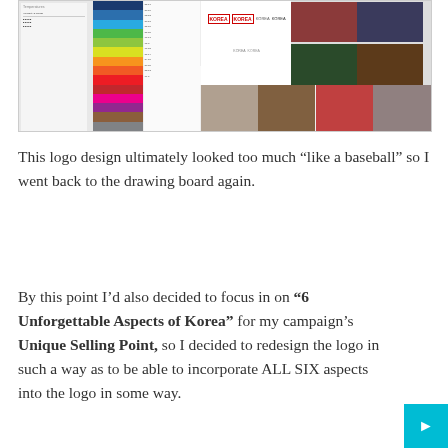[Figure (screenshot): A brand/logo design document showing color swatches, Korea logo variations, and photo collage of Korean cultural images]
This logo design ultimately looked too much “like a baseball” so I went back to the drawing board again.
By this point I’d also decided to focus in on “6 Unforgettable Aspects of Korea” for my campaign’s Unique Selling Point, so I decided to redesign the logo in such a way as to be able to incorporate ALL SIX aspects into the logo in some way.